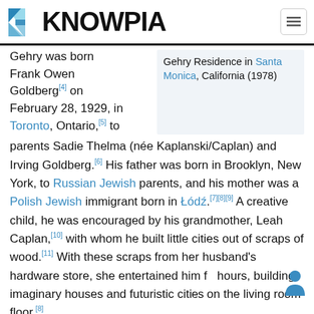KNOWPIA
Gehry was born Frank Owen Goldberg[4] on February 28, 1929, in Toronto, Ontario,[5] to parents Sadie Thelma (née Kaplanski/Caplan) and Irving Goldberg.[6] His father was born in Brooklyn, New York, to Russian Jewish parents, and his mother was a Polish Jewish immigrant born in Łódź.[7][8][9] A creative child, he was encouraged by his grandmother, Leah Caplan,[10] with whom he built little cities out of scraps of wood.[11] With these scraps from her husband's hardware store, she entertained him for hours, building imaginary houses and futuristic cities on the living room floor.[8]
[Figure (screenshot): Gehry Residence in Santa Monica, California (1978) — caption box on right side]